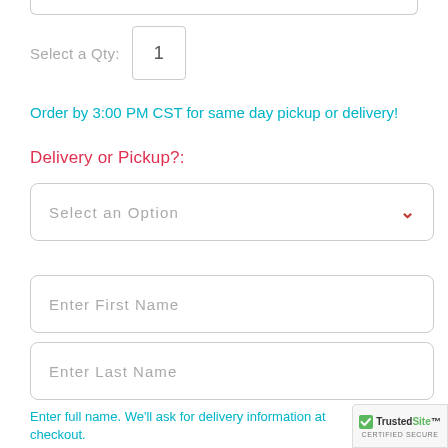Select a Qty: 1
Order by 3:00 PM CST for same day pickup or delivery!
Delivery or Pickup?:
Select an Option
Enter First Name
Enter Last Name
Enter full name. We'll ask for delivery information at checkout.
[Figure (logo): TrustedSite CERTIFIED SECURE badge]